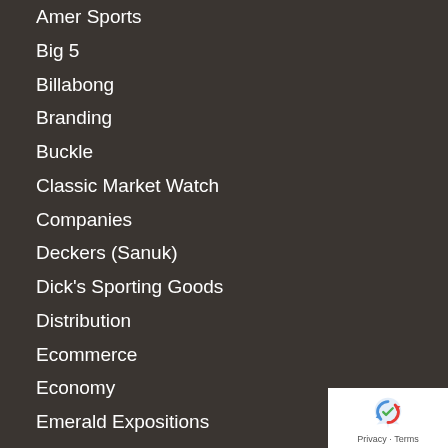Amer Sports
Big 5
Billabong
Branding
Buckle
Classic Market Watch
Companies
Deckers (Sanuk)
Dick's Sporting Goods
Distribution
Ecommerce
Economy
Emerald Expositions
Finance and Accounting
Fox Head
General Management
Genesco (Journey's)